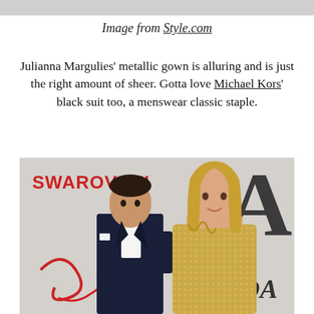[Figure (photo): Partial image strip at top of page, gray/cropped image]
Image from Style.com
Julianna Margulies' metallic gown is alluring and is just the right amount of sheer. Gotta love Michael Kors' black suit too, a menswear classic staple.
[Figure (photo): A man in a dark navy tuxedo with bow tie and a woman in a gold metallic sequined gown posing at a CFDA awards event with Swarovski backdrop]